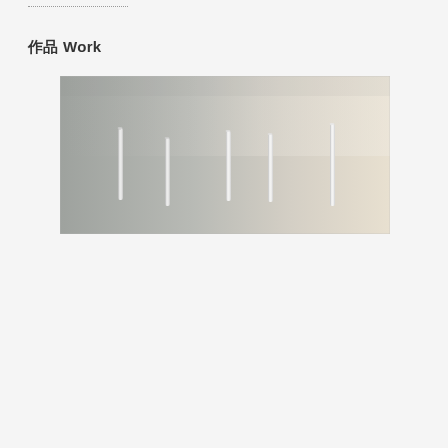作品 Work
[Figure (photo): Photograph of an artwork installation: a large horizontal rectangular panel with a smooth gradient surface transitioning from cool grey on the left to warm beige/white on the right. Five vertical white tube-like rods or strips are mounted on the panel at intervals, each appearing to project slightly from the surface.]